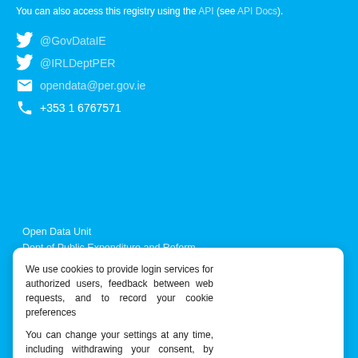You can also access this registry using the API (see API Docs).
@GovDataIE
@IRLDeptPER
opendata@per.gov.ie
+353 1 6767571
Open Data Unit
Dept of Public Expenditure and Reform,
We use cookies to provide login services for authorized users, feedback between web requests, and to record your cookie preferences
You can change your settings at any time, including withdrawing your consent, by going to the Privacy Policy page of this site.